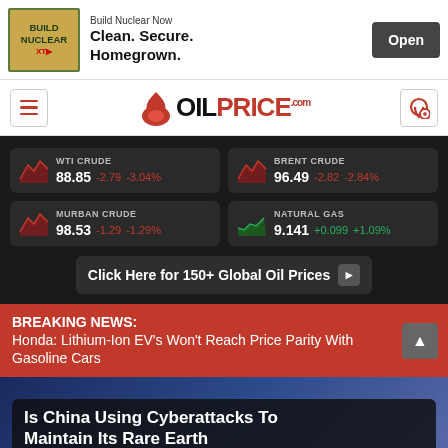[Figure (other): Advertisement banner: Build Nuclear Now - Clean. Secure. Homegrown. Open button]
OILPrice.com
| Commodity | Price | Change | % Change |
| --- | --- | --- | --- |
| WTI CRUDE | 88.85 | -2.79 | -3.04% |
| BRENT CRUDE | 96.49 | -2.82 | -2.84% |
| MURBAN CRUDE | 98.53 | -1.29 | -1.29% |
| NATURAL GAS | 9.141 | +0.099 | +1.09% |
Click Here for 150+ Global Oil Prices
BREAKING NEWS: Honda: Lithium-Ion EV's Won't Reach Price Parity With Gasoline Cars
Is China Using Cyberattacks To Maintain Its Rare Earth